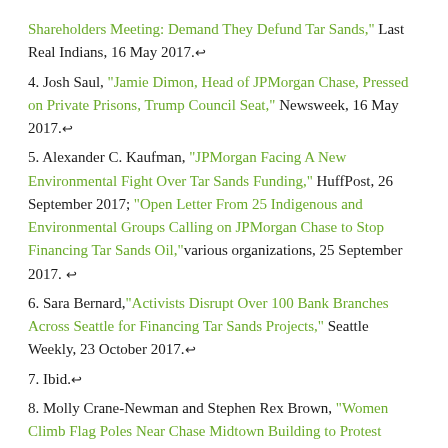Shareholders Meeting: Demand They Defund Tar Sands," Last Real Indians, 16 May 2017.↩
4. Josh Saul, "Jamie Dimon, Head of JPMorgan Chase, Pressed on Private Prisons, Trump Council Seat," Newsweek, 16 May 2017.↩
5. Alexander C. Kaufman, "JPMorgan Facing A New Environmental Fight Over Tar Sands Funding," HuffPost, 26 September 2017; "Open Letter From 25 Indigenous and Environmental Groups Calling on JPMorgan Chase to Stop Financing Tar Sands Oil," various organizations, 25 September 2017.↩
6. Sara Bernard,"Activists Disrupt Over 100 Bank Branches Across Seattle for Financing Tar Sands Projects," Seattle Weekly, 23 October 2017.↩
7. Ibid.↩
8. Molly Crane-Newman and Stephen Rex Brown, "Women Climb Flag Poles Near Chase Midtown Building to Protest Bank's Climate Change